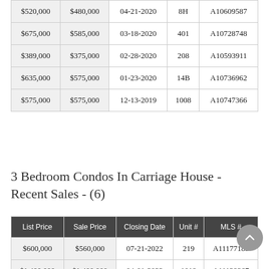| $520,000 | $480,000 | 04-21-2020 | 8H | A10609587 |
| $675,000 | $585,000 | 03-18-2020 | 401 | A10728748 |
| $389,000 | $375,000 | 02-28-2020 | 208 | A10593911 |
| $635,000 | $575,000 | 01-23-2020 | 14B | A10736962 |
| $575,000 | $575,000 | 12-13-2019 | 1008 | A10747366 |
3 Bedroom Condos In Carriage House - Recent Sales - (6)
| List Price | Sale Price | Closing Date | Unit # | MLS # |
| --- | --- | --- | --- | --- |
| $600,000 | $560,000 | 07-21-2022 | 219 | A11177183 |
| $1,400,000 | $1,400,000 | 04-01-2022 | 1019 | A11129367 |